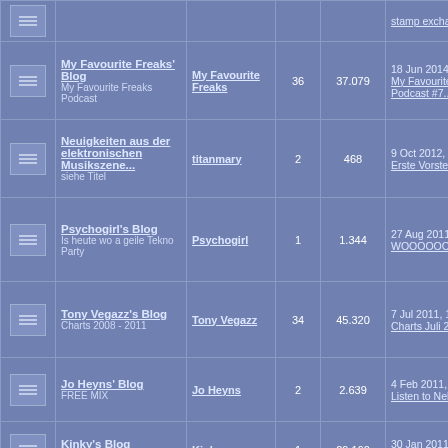| Icon | Blog | Author | Posts | Views | Last Post |
| --- | --- | --- | --- | --- | --- |
| [icon] | My Favourite Freaks' Blog
My Favourite Freaks Podcast | My Favourite Freaks | 36 | 37.079 | 18 Jun 2014, 11:33
My Favourite Freaks Podcast #7... |
| [icon] | Neuigkeiten aus der elektronischen Musikszene...
siehe Titel | titanmary | 2 | 468 | 9 Oct 2012, 17:53
Erste Vorstellung |
| [icon] | Psychogirl's Blog
Is heute wo a geile Tekno Party | Psychogirl | 1 | 1.344 | 27 Aug 2011, 14:38
WOOOOOO |
| [icon] | Tony Vegazz's Blog
Charts 2008 - 2011 | Tony Vegazz | 34 | 45.320 | 7 Jul 2011, 12:41
Charts Juli 2011 |
| [icon] | Jo Heyns' Blog
FREE MIX | Jo Heyns | 2 | 2.639 | 4 Feb 2011, 12:33
Listen to Nelly´s Mix |
| [icon] | Kinky's Blog
Soundsearch | Kinky | 1 | 29.160 | 30 Jan 2011, 14:01
Petter - some polyph... |